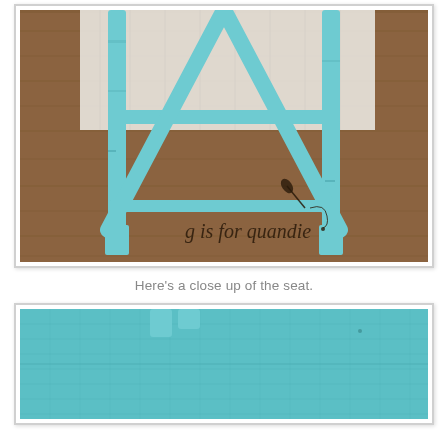[Figure (photo): Close-up photo of a turquoise/teal distressed metal chair frame (legs and crossbars visible) on a wooden floor surface, with white curtains or fabric in the background. The text 'g is for quandie' with a paintbrush logo watermark appears in the lower-right area of the photo.]
Here’s a close up of the seat.
[Figure (photo): Close-up photo of a teal/turquoise fabric seat cushion on a chair, showing the fabric texture and a portion of the turquoise metal chair frame at the top.]